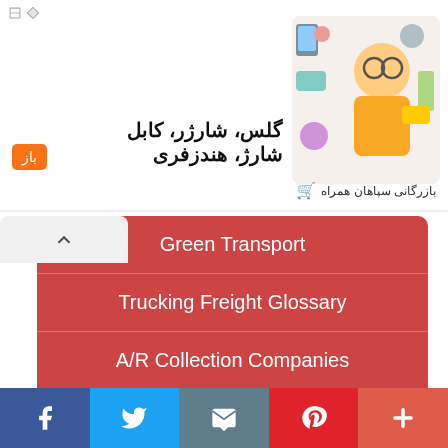[Figure (screenshot): Advertisement banner with Persian text reading: گلس، شارژر، کابل شارژ، هندزفری (Glass, charger, charging cable, earphones). Features orange badge labeled باز and image of person with electronics.]
Green Transport
Trucking Freight Glossary
A/R Collection Companies
Drug & Alcohol Random Programs
DOL Trucking Jobs Report
[Figure (screenshot): Social media sharing bar with Facebook, Twitter, Email, Pinterest, and More buttons]